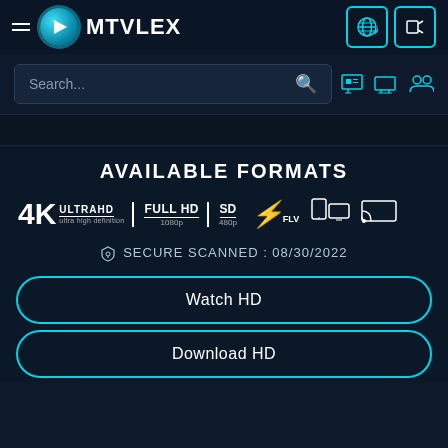MTVLEX
[Figure (screenshot): Search bar with search icon and navigation icons (movie, monitor, users) on dark background]
AVAILABLE FORMATS
[Figure (infographic): Format badges: 4K ULTRAHD ultra high definition, FULL HD 1080p, SD 480p, FLV, tablet/mobile icon, Chromecast icon]
SECURE SCANNED : 08/30/2022
Watch HD
Download HD